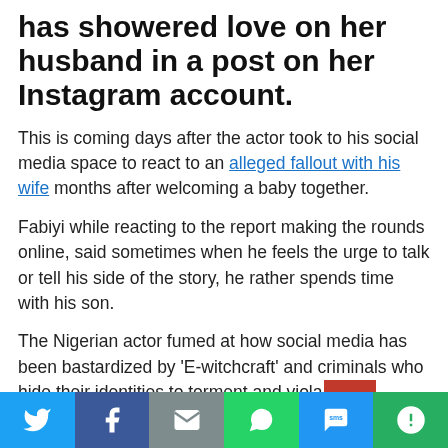has showered love on her husband in a post on her Instagram account.
This is coming days after the actor took to his social media space to react to an alleged fallout with his wife months after welcoming a baby together.
Fabiyi while reacting to the report making the rounds online, said sometimes when he feels the urge to talk or tell his side of the story, he rather spends time with his son.
The Nigerian actor fumed at how social media has been bastardized by 'E-witchcraft' and criminals who hide their identities to torment and viola[text cut off]